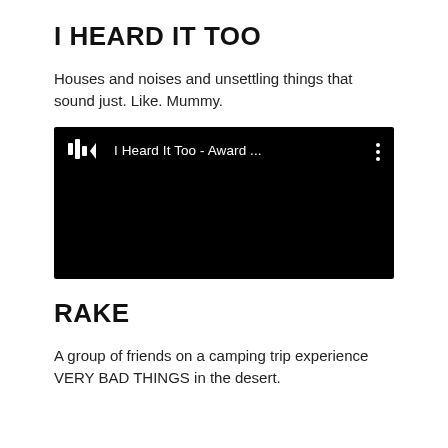I HEARD IT TOO
Houses and noises and unsettling things that sound just. Like. Mummy.
[Figure (screenshot): A dark/black video player thumbnail showing a logo and the text 'I Heard It Too - Award ...' with a vertical three-dot menu icon on the right.]
RAKE
A group of friends on a camping trip experience VERY BAD THINGS in the desert.